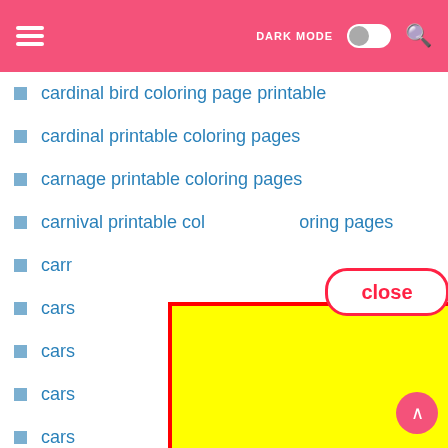Menu | DARK MODE toggle | Search
cardinal bird coloring page printable
cardinal printable coloring pages
carnage printable coloring pages
carnival printable coloring pages
carr...
cars...
cars...
cars...
cars...
cars...
cart...
cartoon free printable kids coloring pages
[Figure (screenshot): Yellow advertisement overlay with red border covering most of the list, with a 'close' button in red text on white pill-shaped background]